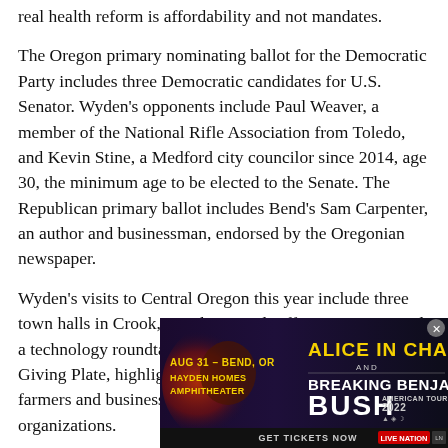real health reform is affordability and not mandates.
The Oregon primary nominating ballot for the Democratic Party includes three Democratic candidates for U.S. Senator. Wyden's opponents include Paul Weaver, a member of the National Rifle Association from Toledo, and Kevin Stine, a Medford city councilor since 2014, age 30, the minimum age to be elected to the Senate. The Republican primary ballot includes Bend's Sam Carpenter, an author and businessman, endorsed by the Oregonian newspaper.
Wyden's visits to Central Oregon this year include three town halls in Crook, Deschutes and Jefferson County, and a technology roundtable in Bend. He also stopped by the Giving Plate, highlighting new tax reforms to encourage farmers and businesses to donate food to charitable organizations.
[Figure (advertisement): Concert advertisement for Alice in Chains and Breaking Benjamin Bush American Tour 2022. Aug 31 - Bend, OR, Hayden Homes Amphitheater. Get Tickets Now via Live Nation.]